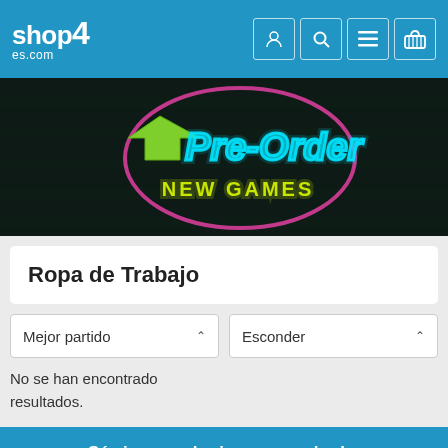shop4es.com
[Figure (illustration): Neon sign banner reading 'Pre-Order NEW GAMES' with a green arrow on a dark brick background. Text in cyan neon style for 'Pre-Order' and yellow-green for 'NEW GAMES', surrounded by a magenta/pink circular neon ring.]
Ropa de Trabajo
Mejor partido
Esconder
No se han encontrado resultados.
Sé siempre el primero en saberlo.
Regístrese en nuestro boletín de correo electrónico para obtener